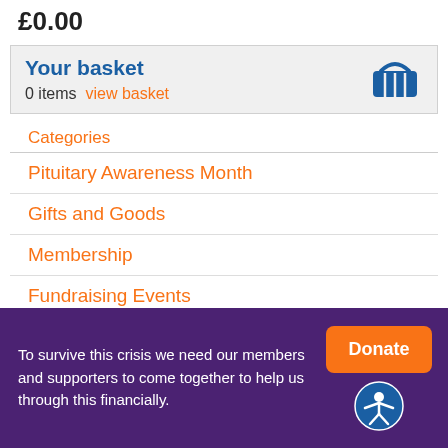£0.00
Your basket
0 items   view basket
Categories
Pituitary Awareness Month
Gifts and Goods
Membership
Fundraising Events
Free Essentials
To survive this crisis we need our members and supporters to come together to help us through this financially.